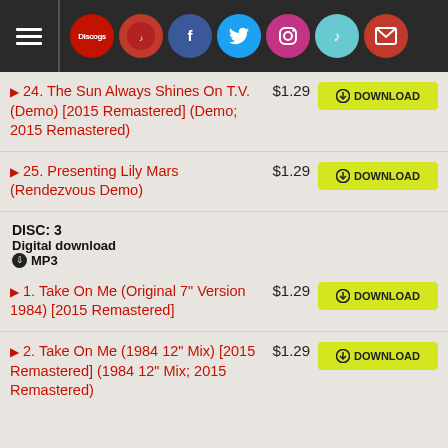Navigation bar with hamburger menu and social icons: Discogs, red icon, Facebook, Twitter, Instagram, TikTok, Mail
24. The Sun Always Shines On T.V. (Demo) [2015 Remastered] (Demo; 2015 Remastered) $1.29 DOWNLOAD
25. Presenting Lily Mars (Rendezvous Demo) $1.29 DOWNLOAD
DISC: 3
Digital download
MP3
1. Take On Me (Original 7" Version 1984) [2015 Remastered] $1.29 DOWNLOAD
2. Take On Me (1984 12" Mix) [2015 Remastered] (1984 12" Mix; 2015 Remastered) $1.29 DOWNLOAD